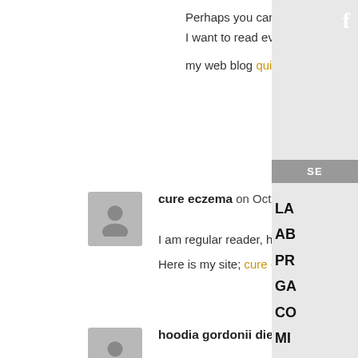Perhaps you can write next articles referring to this article.
I want to read even more things about it!
my web blog quit smoking remedies
Reply
cure eczema on October 13, 2021 at 10:01 am
I am regular reader, how are you everybody? This paragraph posted at this web page is truly nice.
Here is my site; cure eczema
Reply
hoodia gordonii diet pill on October 13, 2021 at 10:22 am